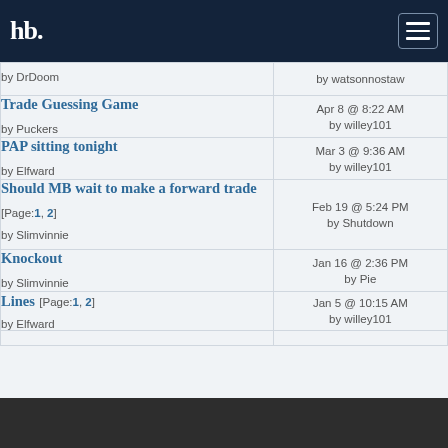hb. [logo] [menu]
by DrDoom | by watsonnostaw
Trade Guessing Game | Apr 8 @ 8:22 AM | by Puckers | by willey101
PAP sitting tonight | Mar 3 @ 9:36 AM | by Elfward | by willey101
Should MB wait to make a forward trade [Page: 1, 2] | Feb 19 @ 5:24 PM | by Slimvinnie | by Shutdown
Knockout | Jan 16 @ 2:36 PM | by Slimvinnie | by Pie
Lines [Page: 1, 2] | Jan 5 @ 10:15 AM | by Elfward | by willey101